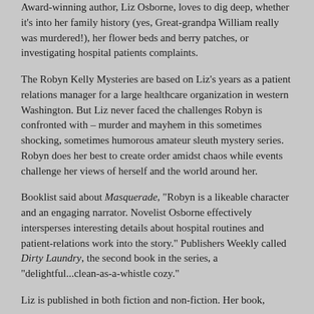Award-winning author, Liz Osborne, loves to dig deep, whether it's into her family history (yes, Great-grandpa William really was murdered!), her flower beds and berry patches, or investigating hospital patients complaints.
The Robyn Kelly Mysteries are based on Liz's years as a patient relations manager for a large healthcare organization in western Washington. But Liz never faced the challenges Robyn is confronted with – murder and mayhem in this sometimes shocking, sometimes humorous amateur sleuth mystery series. Robyn does her best to create order amidst chaos while events challenge her views of herself and the world around her.
Booklist said about Masquerade, "Robyn is a likeable character and an engaging narrator. Novelist Osborne effectively intersperses interesting details about hospital routines and patient-relations work into the story." Publishers Weekly called Dirty Laundry, the second book in the series, a "delightful...clean-as-a-whistle cozy."
Liz is published in both fiction and non-fiction. Her book,